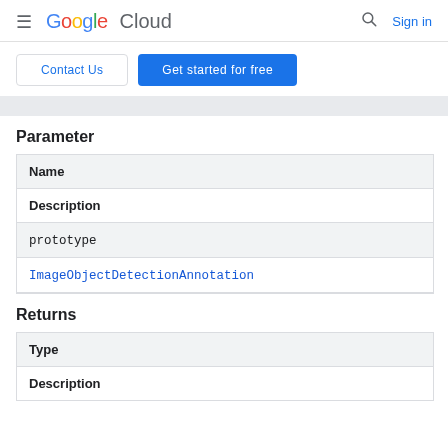≡ Google Cloud  🔍 Sign in
[Figure (screenshot): Contact Us and Get started for free buttons]
Parameter
| Name | Description |
| --- | --- |
| prototype | ImageObjectDetectionAnnotation |
Returns
| Type | Description |
| --- | --- |